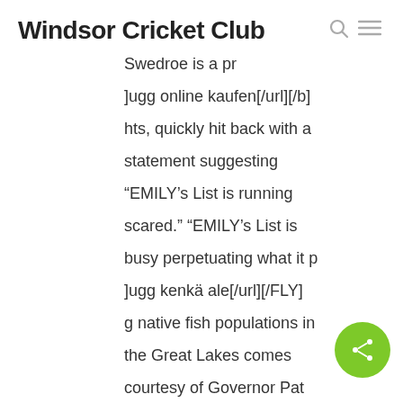Windsor Cricket Club
Swedroe is a pr
]ugg online kaufen[/url][/b]
hts, quickly hit back with a
statement suggesting
“EMILY’s List is running
scared.” “EMILY’s List is
busy perpetuating what it p
]ugg kenkä ale[/url][/FLY]
g native fish populations in
the Great Lakes comes
courtesy of Governor Pat
Quinn. Illinois is entering